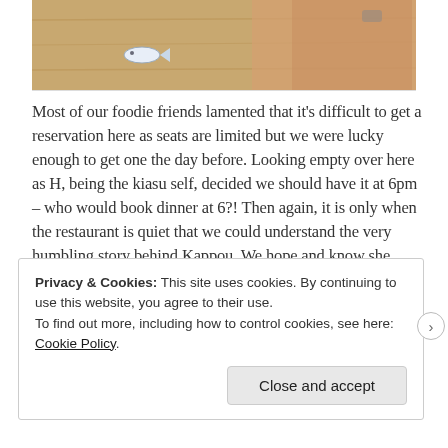[Figure (photo): Photo showing a wooden table surface with a small decorative fish-shaped item, and a person wearing a pink/tan shirt visible in the background]
Most of our foodie friends lamented that it's difficult to get a reservation here as seats are limited but we were lucky enough to get one the day before. Looking empty over here as H, being the kiasu self, decided we should have it at 6pm – who would book dinner at 6?! Then again, it is only when the restaurant is quiet that we could understand the very humbling story behind Kappou. We hope and know she would succeed and yes, the food here is good!
Privacy & Cookies: This site uses cookies. By continuing to use this website, you agree to their use. To find out more, including how to control cookies, see here: Cookie Policy
Close and accept